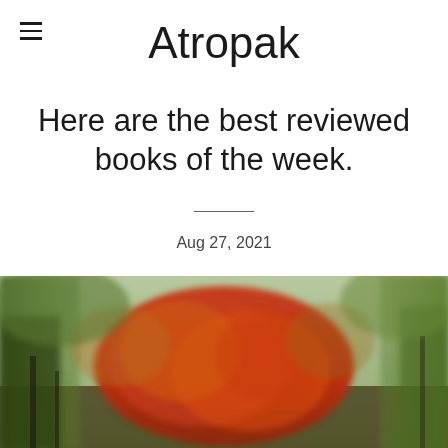Atropak
Here are the best reviewed books of the week.
Aug 27, 2021
[Figure (photo): Autumn forest scene with red, orange, and green foliage, blurred artistic style]